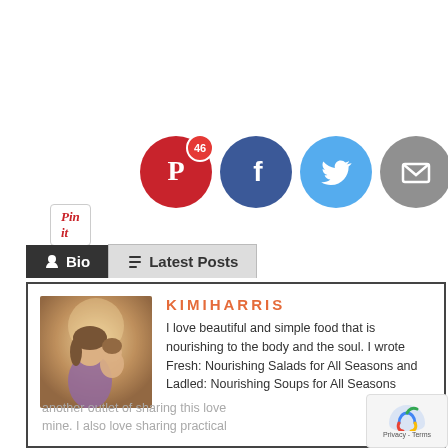[Figure (screenshot): Pin it button — white button with red italic text 'Pin it' and rounded border]
[Figure (screenshot): Social media sharing icons: Pinterest (red circle with P icon and badge 46), Facebook (dark blue circle with f), Twitter (light blue circle with bird), Email (gray circle with envelope)]
Bio | Latest Posts
[Figure (photo): Photo of Kimi Harris, a woman holding a child, warm outdoor lighting]
KIMIHARRIS
I love beautiful and simple food that is nourishing to the body and the soul. I wrote Fresh: Nourishing Salads for All Seasons and Ladled: Nourishing Soups for All Seasons another outlet of sharing this love mine. I also love sharing practical on how to make a real food diet work